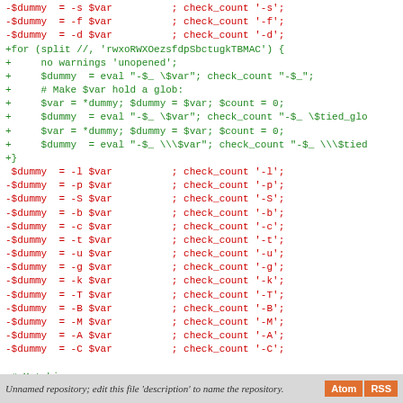[Figure (screenshot): Code diff screenshot showing Perl code with red lines (removals) and green lines (additions). Red lines show file test operators like -s, -f, -d, -l, -p, -S, -b, -c, -t, -u, -g, -k, -T, -B, -M, -A, -C with $var and check_count calls. Green lines show a for loop and eval statements. Below the code is a comment '# Matching' and '$_ = "foo";'.]
Unnamed repository; edit this file 'description' to name the repository.